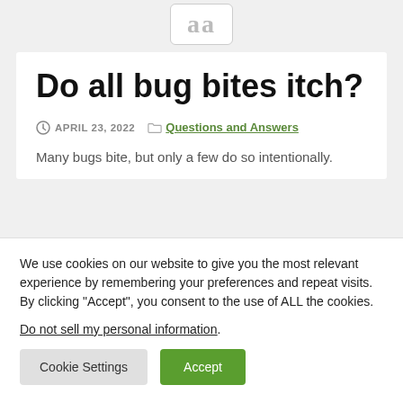[Figure (logo): Logo box with lowercase 'aa' letters in gray on white rounded-rectangle background]
Do all bug bites itch?
APRIL 23, 2022   Questions and Answers
Many bugs bite, but only a few do so intentionally.
We use cookies on our website to give you the most relevant experience by remembering your preferences and repeat visits. By clicking “Accept”, you consent to the use of ALL the cookies.
Do not sell my personal information.
Cookie Settings   Accept